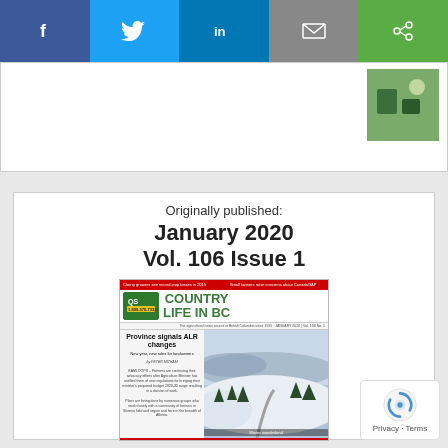[Figure (infographic): Social media sharing bar with Facebook, Twitter, LinkedIn, Email, and Share buttons]
[Figure (screenshot): Top of webpage showing a partial article snippet with a small image on the right]
Originally published:
January 2020
Vol. 106 Issue 1
[Figure (screenshot): Thumbnail of Country Life in BC newspaper front page, January 2020 Vol. 106 Issue 1, showing headline 'Province signals ALR changes' and a winter landscape photo captioned 'Winter wonderland']